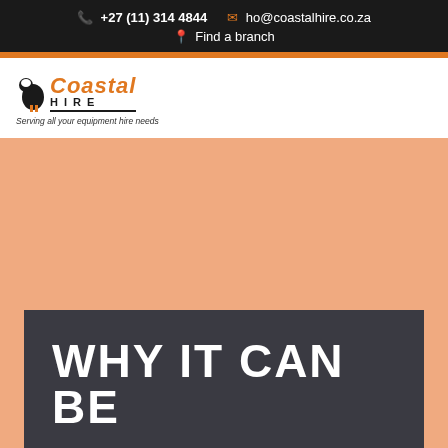+27 (11) 314 4844  ho@coastalhire.co.za  Find a branch
[Figure (logo): Coastal Hire logo with bird icon, orange italic 'Coastal' text, bold 'HIRE' subtitle, and tagline 'Serving all your equipment hire needs']
WHY IT CAN BE